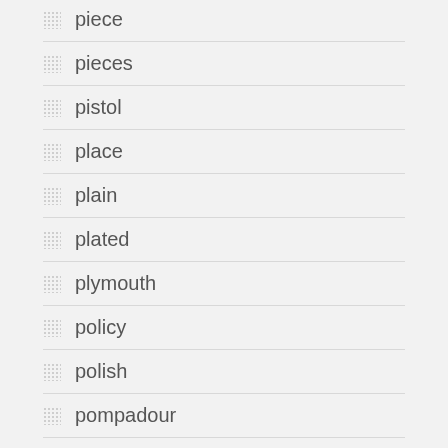piece
pieces
pistol
place
plain
plated
plymouth
policy
polish
pompadour
pork